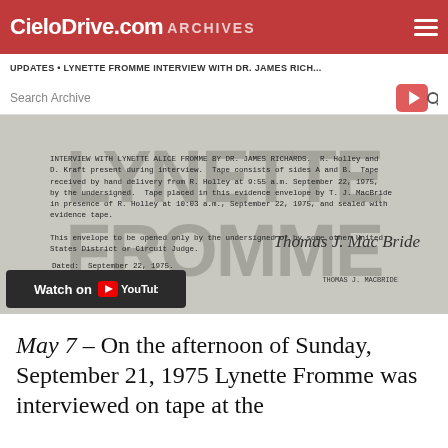CieloDrive.com ARCHIVES
UPDATES • LYNETTE FROMME INTERVIEW WITH DR. JAMES RICH...
Search Archive
[Figure (screenshot): Document screenshot showing interview with Lynette Alice Fromme by Dr. James Richards with text about tape evidence envelope, dated September 22, 1975, signed by Thomas J. MacBride. Overlaid with large watermark text LYNETTE FROMME. YouTube watch button visible at bottom.]
May 7 – On the afternoon of Sunday, September 21, 1975 Lynette Fromme was interviewed on tape at the